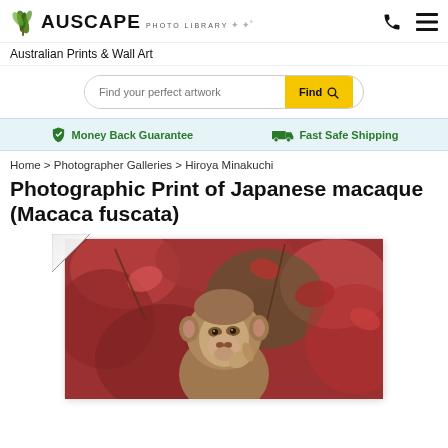AUSCAPE PHOTO LIBRARY — Australian Prints & Wall Art
Find your perfect artwork
Money Back Guarantee   Fast Safe Shipping
Home > Photographer Galleries > Hiroya Minakuchi
Photographic Print of Japanese macaque (Macaca fuscata)
[Figure (photo): Japanese macaque (Macaca fuscata) close-up photograph with red autumn foliage background, shown as a print with curled corner effect]